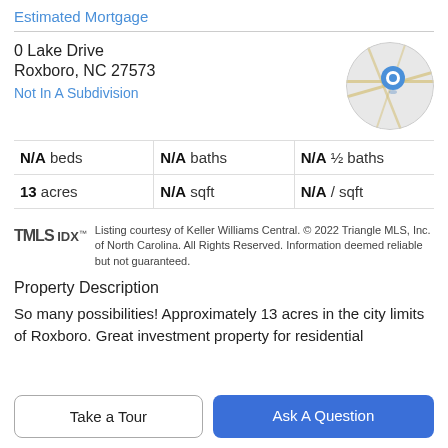Estimated Mortgage
0 Lake Drive
Roxboro, NC 27573
Not In A Subdivision
[Figure (map): Circular map thumbnail showing a location pin on a street map near Roxboro, NC]
| N/A beds | N/A baths | N/A ½ baths |
| 13 acres | N/A sqft | N/A / sqft |
Listing courtesy of Keller Williams Central. © 2022 Triangle MLS, Inc. of North Carolina. All Rights Reserved. Information deemed reliable but not guaranteed.
Property Description
So many possibilities! Approximately 13 acres in the city limits of Roxboro. Great investment property for residential
Take a Tour
Ask A Question